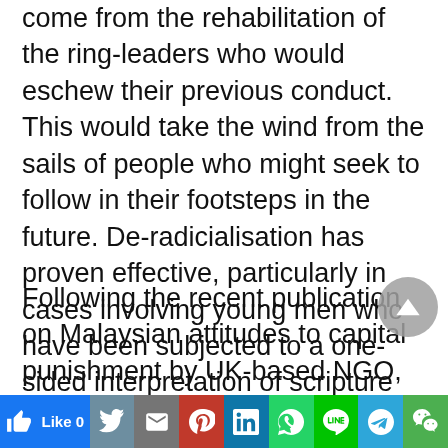come from the rehabilitation of the ring-leaders who would eschew their previous conduct. This would take the wind from the sails of people who might seek to follow in their footsteps in the future. De-radicialisation has proven effective, particularly in cases involving young men who have been subjected to a one-sided interpretation of scripture by an extreme teacher.
Following the recent publication on Malaysian attitudes to capital punishment by UK-based NGO, the Death Penalty Project, there appears to be a growing willingness on the part of Malaysians to re-open the death penalty debate and consider the
Like 0 | Twitter | Gmail | Pinterest | LinkedIn | WhatsApp | Line | Telegram | WeChat